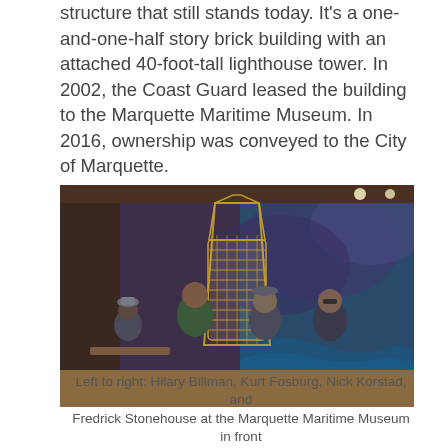structure that still stands today. It's a one-and-one-half story brick building with an attached 40-foot-tall lighthouse tower. In 2002, the Coast Guard leased the building to the Marquette Maritime Museum. In 2016, ownership was conveyed to the City of Marquette.
[Figure (photo): Four people standing in front of a large Fresnel lens display inside the Marquette Maritime Museum. The background shows a dramatic ocean mural with stormy clouds and waves. The lens is a large gold-framed cylindrical structure hanging from the ceiling.]
Left to right: Hilary Billman, Kurt Fosburg, Nick Korstad, and Fredrick Stonehouse at the Marquette Maritime Museum in front